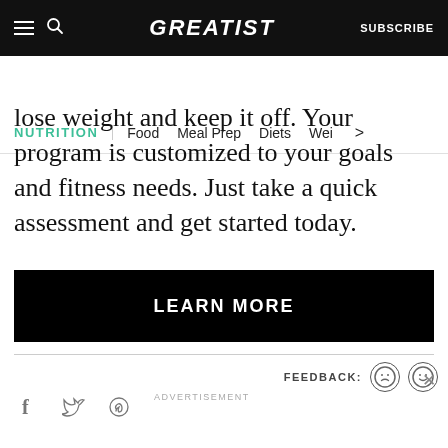GREATIST | SUBSCRIBE
NUTRITION | Food | Meal Prep | Diets | Wei >
lose weight and keep it off. Your program is customized to your goals and fitness needs. Just take a quick assessment and get started today.
LEARN MORE
FEEDBACK:
ADVERTISEMENT
Let's be friends with (health) benefits. Follow GREATIST on Instagram | FOLLOW US